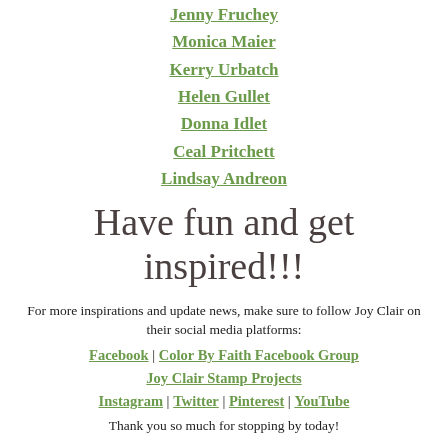Jenny Fruchey
Monica Maier
Kerry Urbatch
Helen Gullet
Donna Idlet
Ceal Pritchett
Lindsay Andreon
Have fun and get inspired!!!
For more inspirations and update news, make sure to follow Joy Clair on their social media platforms:
Facebook | Color By Faith Facebook Group
Joy Clair Stamp Projects
Instagram | Twitter | Pinterest | YouTube
Thank you so much for stopping by today!